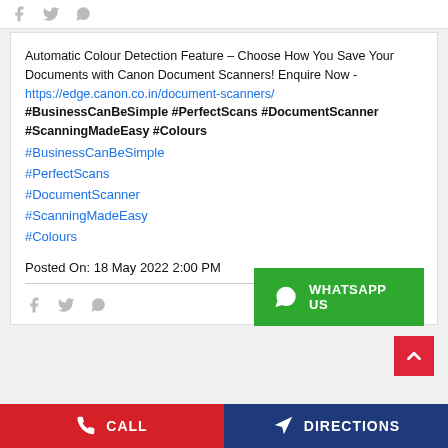Automatic Colour Detection Feature – Choose How You Save Your Documents with Canon Document Scanners! Enquire Now - https://edge.canon.co.in/document-scanners/ #BusinessCanBeSimple #PerfectScans #DocumentScanner #ScanningMadeEasy #Colours
#BusinessCanBeSimple
#PerfectScans
#DocumentScanner
#ScanningMadeEasy
#Colours
Posted On: 18 May 2022 2:00 PM
[Figure (other): WHATSAPP US button with WhatsApp phone icon, green background]
[Figure (other): Back to top button, red background with up arrow]
[Figure (other): Footer bar with CALL (red) and DIRECTIONS (dark blue) buttons with icons]